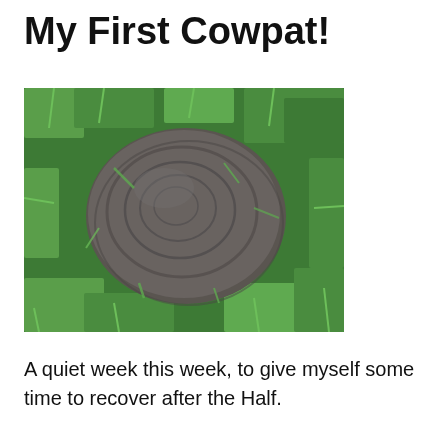My First Cowpat!
[Figure (photo): A photograph of a cowpat (dried dung patty) resting on green grass, viewed from above. The cowpat is roughly circular, dark grey-brown in colour with a textured, layered surface. Green grass surrounds it on all sides.]
A quiet week this week, to give myself some time to recover after the Half.